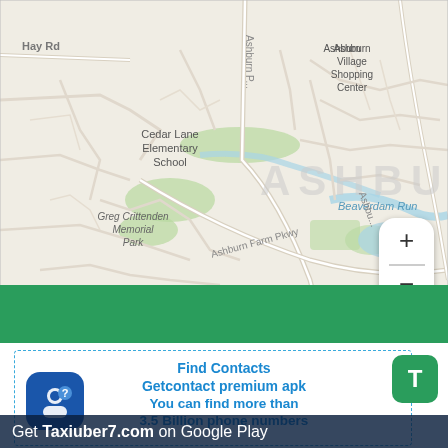[Figure (map): Street map of Ashburn, Virginia area showing roads, landmarks including Cedar Lane Elementary School, Greg Crittenden Memorial Park, Beaverdam Run, Ashburn Village Shopping Center, and roads like Hay Rd, Ashburn Farm Pkwy, Gloucester Pkwy. Map has zoom in/out controls on the right side.]
[Figure (screenshot): App advertisement section showing 'Find Contacts / Getcontact premium apk / You can find more than 3.5 Billion phone numbers' text in blue on white background with dashed border, a blue app icon with person and question mark, a green T button, and a dark banner at bottom reading 'Get Taxiuber7.com on Google Play']